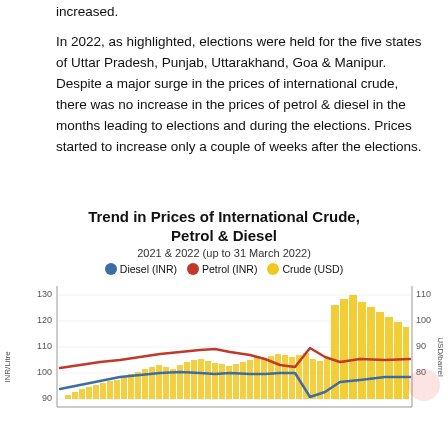increased.
In 2022, as highlighted, elections were held for the five states of Uttar Pradesh, Punjab, Uttarakhand, Goa & Manipur. Despite a major surge in the prices of international crude, there was no increase in the prices of petrol & diesel in the months leading to elections and during the elections. Prices started to increase only a couple of weeks after the elections.
[Figure (line-chart): Line chart showing trends in international crude oil prices, petrol and diesel prices from 2021 to March 2022. Petrol line is highest around 120 INR, diesel around 100-110 INR, crude oil shown as bar chart rises sharply near end.]